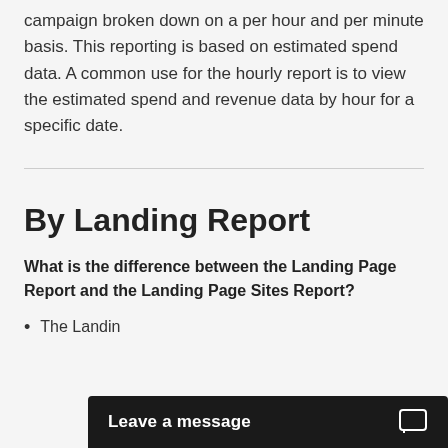campaign broken down on a per hour and per minute basis. This reporting is based on estimated spend data. A common use for the hourly report is to view the estimated spend and revenue data by hour for a specific date.
By Landing Report
What is the difference between the Landing Page Report and the Landing Page Sites Report?
The Landin…